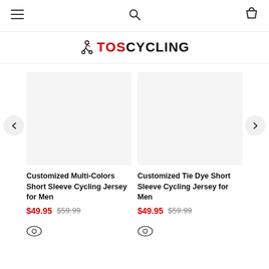Navigation bar with hamburger menu, search icon, and cart icon
TOSCYCLING
[Figure (screenshot): Product listing page showing two cycling jersey products with prices]
Customized Multi-Colors Short Sleeve Cycling Jersey for Men $49.95 $59.99
Customized Tie Dye Short Sleeve Cycling Jersey for Men $49.95 $59.99